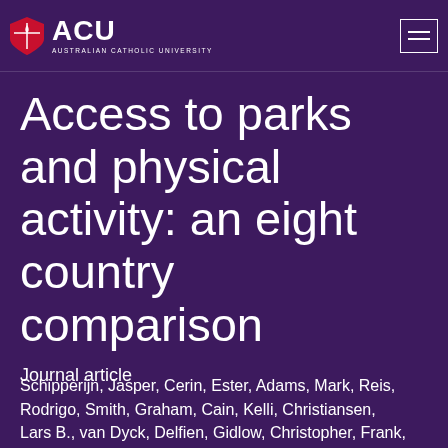ACU — AUSTRALIAN CATHOLIC UNIVERSITY
Access to parks and physical activity: an eight country comparison
Journal article
Schipperijn, Jasper, Cerin, Ester, Adams, Mark, Reis, Rodrigo, Smith, Graham, Cain, Kelli, Christiansen, Lars B., van Dyck, Delfien, Gidlow, Christopher, Frank,